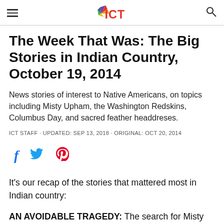ICT (logo header with hamburger menu and search icon)
The Week That Was: The Big Stories in Indian Country, October 19, 2014
News stories of interest to Native Americans, on topics including Misty Upham, the Washington Redskins, Columbus Day, and sacred feather headdreses.
ICT STAFF · UPDATED: SEP 13, 2018 · ORIGINAL: OCT 20, 2014
[Figure (other): Social sharing icons: Facebook (f), Twitter (bird), Pinterest (P)]
It's our recap of the stories that mattered most in Indian country:
AN AVOIDABLE TRAGEDY: The search for Misty